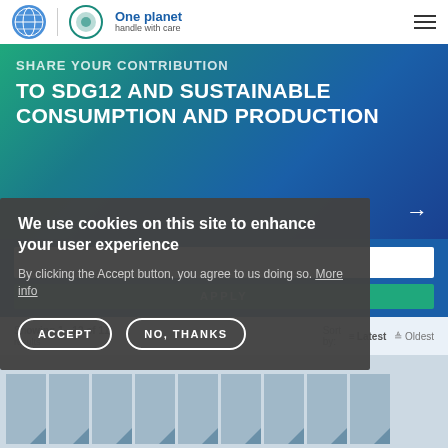One planet handle with care
SHARE YOUR CONTRIBUTION TO SDG12 AND SUSTAINABLE CONSUMPTION AND PRODUCTION
[Figure (screenshot): Search input box on blue background with APPLY button below]
Showing 1 - 12 of 11 results  Sort by:  Latest  Oldest
We use cookies on this site to enhance your user experience
By clicking the Accept button, you agree to us doing so. More info
ACCEPT  NO, THANKS